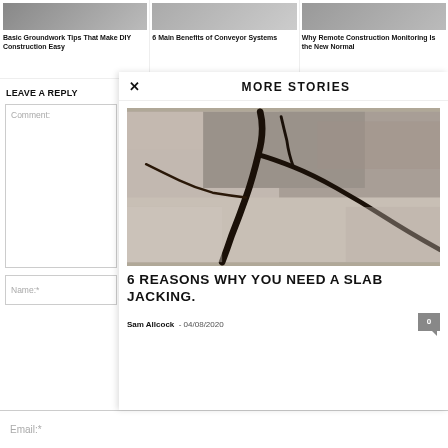[Figure (photo): Thumbnail image for Basic Groundwork Tips article]
Basic Groundwork Tips That Make DIY Construction Easy
[Figure (photo): Thumbnail image for 6 Main Benefits of Conveyor Systems article]
6 Main Benefits of Conveyor Systems
[Figure (photo): Thumbnail image for Why Remote Construction Monitoring Is the New Normal article]
Why Remote Construction Monitoring Is the New Normal
LEAVE A REPLY
Comment:
Name:*
MORE STORIES
[Figure (photo): Cracked concrete slab close-up photograph]
6 REASONS WHY YOU NEED A SLAB JACKING.
Sam Allcock  -  04/08/2020
0
Email:*